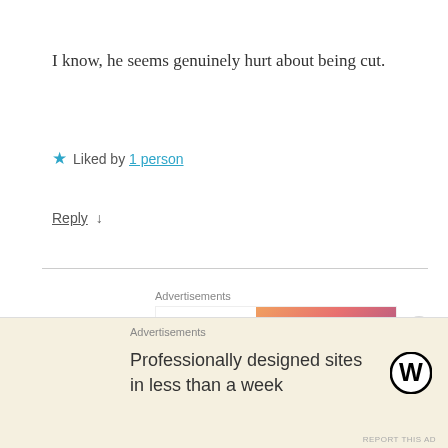I know, he seems genuinely hurt about being cut.
★ Liked by 1 person
Reply ↓
[Figure (screenshot): WordPress VIP advertisement banner with 'Learn more →' button on gradient orange-pink background]
REPORT THIS AD
allendemir
August 14, 2016 at 4:52 pm
[Figure (screenshot): Bottom advertisement overlay: 'Professionally designed sites in less than a week' with WordPress logo]
REPORT THIS AD